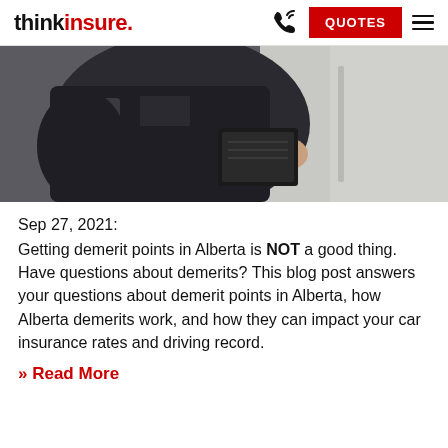thinkinsure. QUOTES
[Figure (photo): A police officer in dark uniform writing in a notepad next to a vehicle]
Sep 27, 2021:
Getting demerit points in Alberta is NOT a good thing. Have questions about demerits? This blog post answers your questions about demerit points in Alberta, how Alberta demerits work, and how they can impact your car insurance rates and driving record.
» Read More